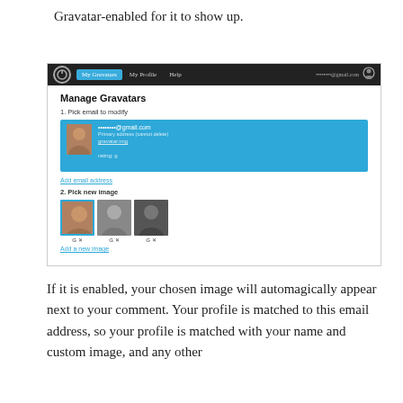Gravatar-enabled for it to show up.
[Figure (screenshot): Screenshot of Gravatar website showing 'Manage Gravatars' page with navigation bar, email selection row highlighted in blue, 'Add email address' link, 'Pick new image' section with three thumbnail photos and controls, and 'Add a new image' link.]
If it is enabled, your chosen image will automagically appear next to your comment. Your profile is matched to this email address, so your profile is matched with your name and custom image, and any other